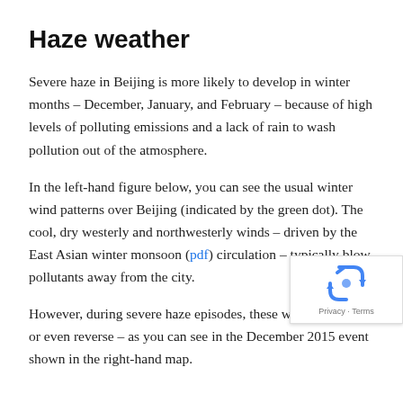Haze weather
Severe haze in Beijing is more likely to develop in winter months – December, January, and February – because of high levels of polluting emissions and a lack of rain to wash pollution out of the atmosphere.
In the left-hand figure below, you can see the usual winter wind patterns over Beijing (indicated by the green dot). The cool, dry westerly and northwesterly winds – driven by the East Asian winter monsoon (pdf) circulation – typically blow pollutants away from the city.
[Figure (logo): Google reCAPTCHA badge with recycling arrow icon and Privacy · Terms text]
However, during severe haze episodes, these winds weaken or even reverse – as you can see in the December 2015 event shown in the right-hand map.